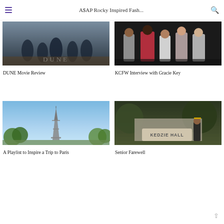A$AP Rocky Inspired Fash...
[Figure (photo): Movie poster for DUNE with cast members]
DUNE Movie Review
[Figure (photo): Group of women in fashionable outfits at KCFW]
KCFW Interview with Gracie Key
[Figure (photo): Eiffel Tower in Paris with blue sky]
A Playlist to Inspire a Trip to Paris
[Figure (photo): Person in graduation gown standing in front of Kedzie Hall sign]
Senior Farewell